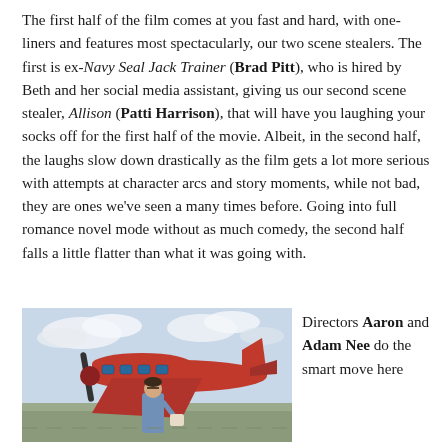The first half of the film comes at you fast and hard, with one-liners and features most spectacularly, our two scene stealers. The first is ex-Navy Seal Jack Trainer (Brad Pitt), who is hired by Beth and her social media assistant, giving us our second scene stealer, Allison (Patti Harrison), that will have you laughing your socks off for the first half of the movie. Albeit, in the second half, the laughs slow down drastically as the film gets a lot more serious with attempts at character arcs and story moments, while not bad, they are ones we've seen a many times before. Going into full romance novel mode without as much comedy, the second half falls a little flatter than what it was going with.
[Figure (photo): A woman in a blue suit walking near a small red and white propeller airplane on an airfield, holding a bag, with cloudy sky in background.]
Directors Aaron and Adam Nee do the smart move here